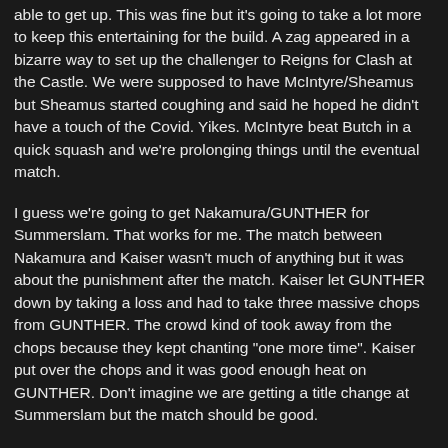able to get up. This was fine but it's going to take a lot more to keep this entertaining for the build. A zag appeared in a bizarre way to set up the challenger to Reigns for Clash at the Castle. We were supposed to have McIntyre/Sheamus but Sheamus started coughing and said he hoped he didn't have a touch of the Covid. Yikes. McIntyre beat Butch in a quick squash and we're prolonging things until the eventual match.
I guess we're going to get Nakamura/GUNTHER for Summerslam. That works for me. The match between Nakamura and Kaiser wasn't much of anything but it was about the punishment after the match. Kaiser let GUNTHER down by taking a loss and had to take three massive chops from GUNTHER. The crowd kind of took away from the chops because they kept chanting "one more time". Kaiser put over the chops and it was good enough heat on GUNTHER. Don't imagine we are getting a title change at Summerslam but the match should be good.
This company is so wild when it comes to deciding when to shift gears. All it took was one night of booing in Vegas and they went ahead and turned Lacey. Granted, that was likely where this was going, but I feel like they hit the ejection seat somewhat quickly on the ruse of her being a heroic face. All that work with her bearing her soul, down the drain haha.
The Tennis Collection Reveal for MMM wasn't as enthralling as the reveal last week but it was still titillating. There's a lot of non-sensical garbage these performers have to recite so I can't blame Dupri needing cue cards for his stuff, but the bit lost a little steam with the picture-in-picture and he was looking down and just